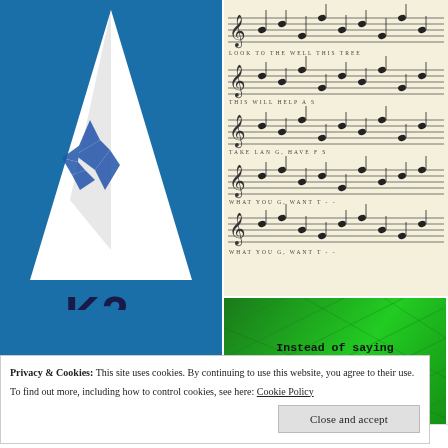[Figure (photo): K2 water bottle or product photo showing a white mountain peak against a blue sky with the K2 logo/text at the bottom, featuring blue bird/wing graphics on the mountain]
[Figure (other): Scanned sheet music with musical notation on a cream/yellowed background, showing multiple staves with notes and lyrics]
[Figure (other): Green textured background with text: Instead of saying "God wouldn't give you more than you could handle," you could say, "Let me come over and do some laundry."]
Privacy & Cookies: This site uses cookies. By continuing to use this website, you agree to their use.
To find out more, including how to control cookies, see here: Cookie Policy
Close and accept
Follow me on Twitter